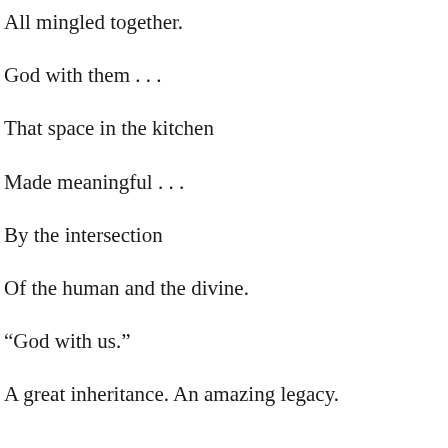All mingled together.
God with them . . .
That space in the kitchen
Made meaningful . . .
By the intersection
Of the human and the divine.
“God with us.”
A great inheritance. An amazing legacy.